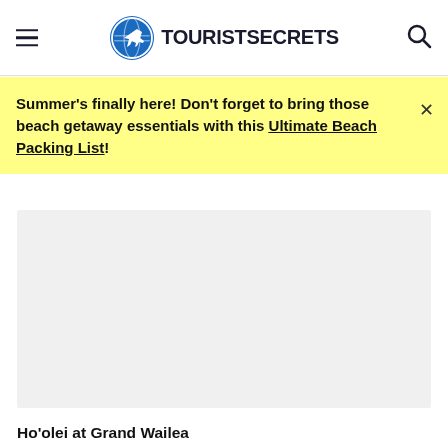TOURISTSECRETS
Summer's finally here! Don't forget to bring those beach getaway essentials with this Ultimate Beach Packing List!
[Figure (photo): Large light gray placeholder image area for Ho'olei at Grand Wailea]
Ho'olei at Grand Wailea